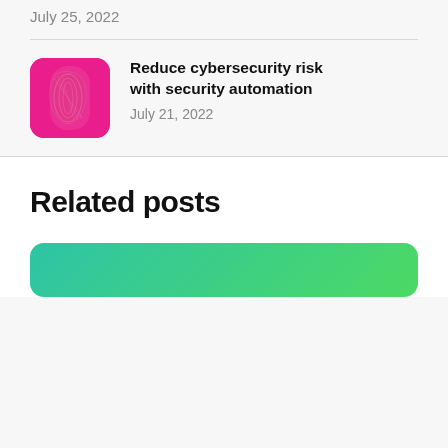July 25, 2022
Reduce cybersecurity risk with security automation
July 21, 2022
Related posts
[Figure (illustration): Teal/green gradient card at bottom of page, partially visible]